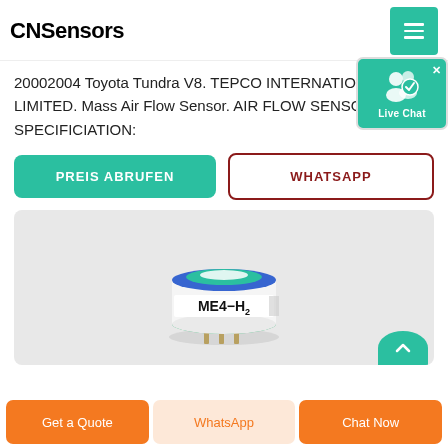CNSensors
20002004 Toyota Tundra V8. TEPCO INTERNATIONALE LIMITED. Mass Air Flow Sensor. AIR FLOW SENSOR. SPECIFICIATION:
[Figure (screenshot): Live Chat popup overlay with teal background, silhouette of two people with a checkmark badge icon, and 'Live Chat' label]
[Figure (other): Green PREIS ABRUFEN button (teal/green rounded rectangle) and WHATSAPP button (white with dark red border)]
[Figure (photo): ME4-H2 sensor component on a light gray background — a cylindrical sensor with blue top ring and green bottom, labeled 'ME4-H2']
[Figure (other): Teal scroll-up circular button at bottom right]
Get a Quote | WhatsApp | Chat Now